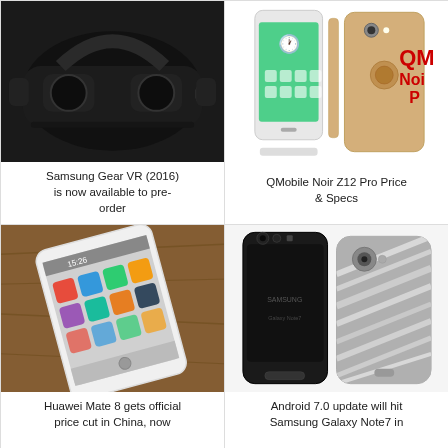[Figure (photo): Samsung Gear VR (2016) headset, black, shown at an angle]
Samsung Gear VR (2016) is now available to pre-order
[Figure (photo): QMobile Noir Z12 Pro smartphone shown from front, side and back angles in gold color, with red QM Noir P text overlay]
QMobile Noir Z12 Pro Price & Specs
[Figure (photo): Huawei Mate 8 smartphone lying on a wooden surface showing the home screen]
Huawei Mate 8 gets official price cut in China, now
[Figure (photo): Samsung Galaxy Note7 shown in black and silver color variants, back view]
Android 7.0 update will hit Samsung Galaxy Note7 in